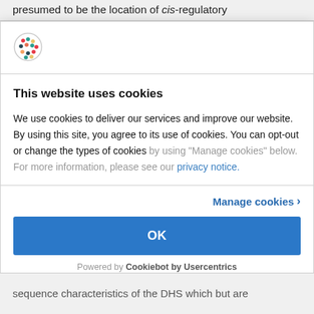presumed to be the location of cis-regulatory
[Figure (logo): Cookiebot/Usercentrics colorful dot-grid circular logo icon]
This website uses cookies
We use cookies to deliver our services and improve our website. By using this site, you agree to its use of cookies. You can opt-out or change the types of cookies by using “Manage cookies” below. For more information, please see our privacy notice.
Manage cookies ›
OK
Powered by Cookiebot by Usercentrics
sequence characteristics of the DHS which but are